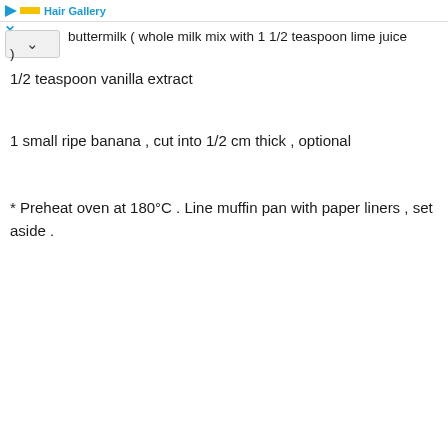Hair Gallery
buttermilk ( whole milk mix with 1 1/2 teaspoon lime juice )
1/2 teaspoon vanilla extract
1 small ripe banana , cut into 1/2 cm thick , optional
* Preheat oven at 180°C . Line muffin pan with paper liners , set aside .